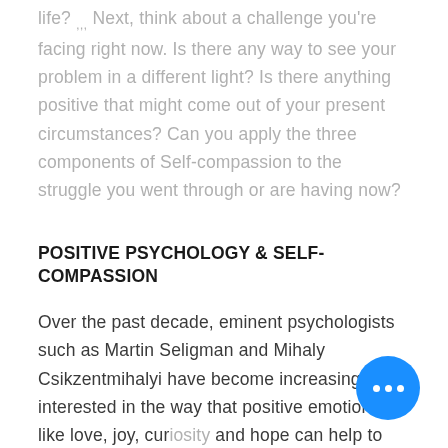life? ,,, Next, think about a challenge you're facing right now. Is there any way to see your problem in a different light? Is there anything positive that might come out of your present circumstances? Can you apply the three components of Self-compassion to the struggle you went through or are having now?
POSITIVE PSYCHOLOGY & SELF-COMPASSION
Over the past decade, eminent psychologists such as Martin Seligman and Mihaly Csikzentmihalyi have become increasingly interested in the way that positive emotions like love, joy, cur... and hope can help to maximize hea... and well-being. So really how can the...